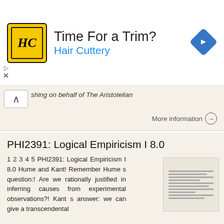[Figure (infographic): Advertisement banner for Hair Cuttery with logo, headline 'Time For a Trim?', blue subtitle 'Hair Cuttery', and a blue diamond navigation arrow icon on the right.]
shing on behalf of The Aristotelian
More information →
PHI2391: Logical Empiricism I 8.0
1 2 3 4 5 PHI2391: Logical Empiricism I 8.0 Hume and Kant! Remember Hume s question:! Are we rationally justified in inferring causes from experimental observations?! Kant s answer: we can give a transcendental
More information →
Instructor s Manual 1